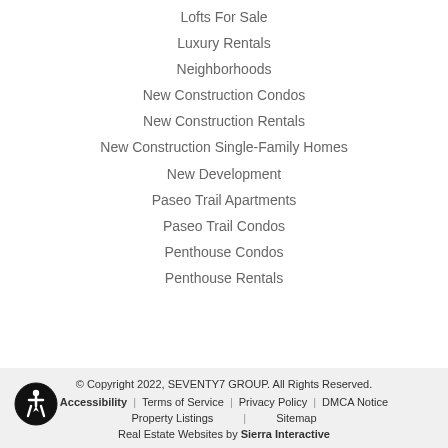Lofts For Sale
Luxury Rentals
Neighborhoods
New Construction Condos
New Construction Rentals
New Construction Single-Family Homes
New Development
Paseo Trail Apartments
Paseo Trail Condos
Penthouse Condos
Penthouse Rentals
© Copyright 2022, SEVENTY7 GROUP. All Rights Reserved. | Accessibility | Terms of Service | Privacy Policy | DMCA Notice | Property Listings | Sitemap | Real Estate Websites by Sierra Interactive